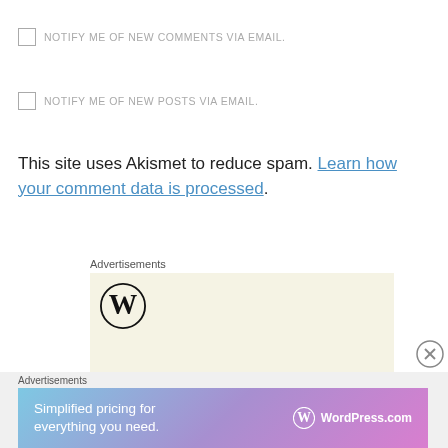NOTIFY ME OF NEW COMMENTS VIA EMAIL.
NOTIFY ME OF NEW POSTS VIA EMAIL.
This site uses Akismet to reduce spam. Learn how your comment data is processed.
Advertisements
[Figure (logo): WordPress logo (circle W) on beige background advertisement box]
Advertisements
[Figure (infographic): WordPress.com advertisement banner with gradient purple/blue background. Text: Simplified pricing for everything you need. WordPress.com logo on right.]